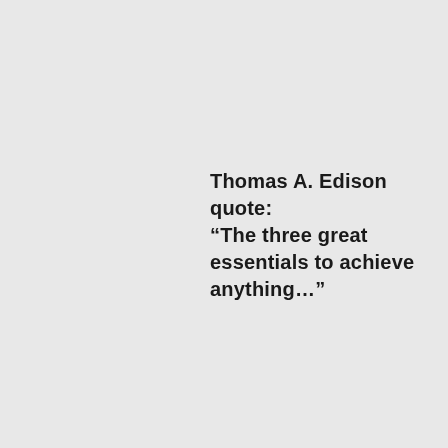Thomas A. Edison quote: “The three great essentials to achieve anything…”